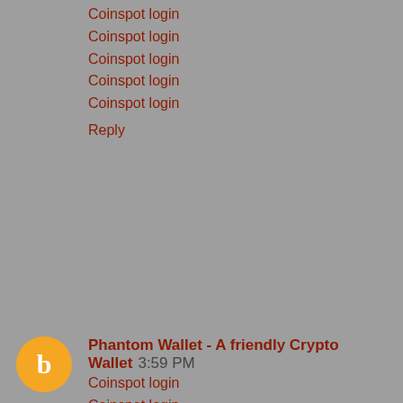Coinspot login
Coinspot login
Coinspot login
Coinspot login
Coinspot login
Reply
Phantom Wallet - A friendly Crypto Wallet  3:59 PM
Coinspot login
Coinspot login
Coinspot login
Reply
smith machinist  3:34 AM
MetáMask Login is the platform that is a global community of developers and designers which has been dedicated for making our globe a great place with blockchain technology.
metamask login | gemini login | fantom crypto wallet | fantom wallet | quickswap exchange | sushiswap